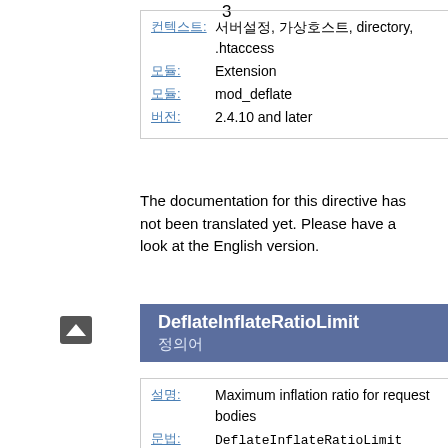3
| 컨텍스트: | 서버설정, 가상호스트, directory, .htaccess |
| 모듈: | Extension |
| 모듈: | mod_deflate |
| 버전: | 2.4.10 and later |
The documentation for this directive has not been translated yet. Please have a look at the English version.
DeflateInflateRatioLimit
정의어
| 설명: | Maximum inflation ratio for request bodies |
| 문법: | DeflateInflateRatioLimit value |
| 기본값: | DeflateInflateRatioLimit 200 |
| 컨텍스트: | 서버설정, 가상호스트, directory, .htaccess |
| 모듈: | Extension |